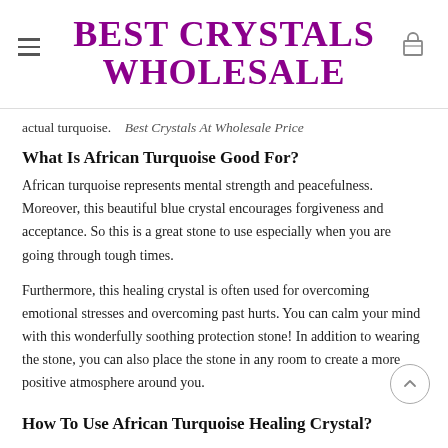BEST CRYSTALS WHOLESALE
actual turquoise.   Best Crystals At Wholesale Price
What Is African Turquoise Good For?
African turquoise represents mental strength and peacefulness. Moreover, this beautiful blue crystal encourages forgiveness and acceptance. So this is a great stone to use especially when you are going through tough times.
Furthermore, this healing crystal is often used for overcoming emotional stresses and overcoming past hurts. You can calm your mind with this wonderfully soothing protection stone! In addition to wearing the stone, you can also place the stone in any room to create a more positive atmosphere around you.
How To Use African Turquoise Healing Crystal?